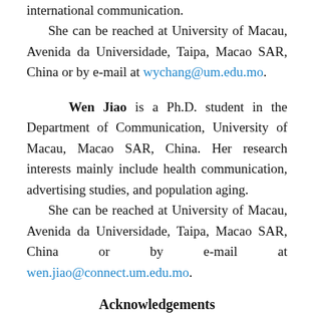international communication.
    She can be reached at University of Macau, Avenida da Universidade, Taipa, Macao SAR, China or by e-mail at wychang@um.edu.mo.
Wen Jiao is a Ph.D. student in the Department of Communication, University of Macau, Macao SAR, China. Her research interests mainly include health communication, advertising studies, and population aging.
    She can be reached at University of Macau, Avenida da Universidade, Taipa, Macao SAR, China or by e-mail at wen.jiao@connect.um.edu.mo.
Acknowledgements